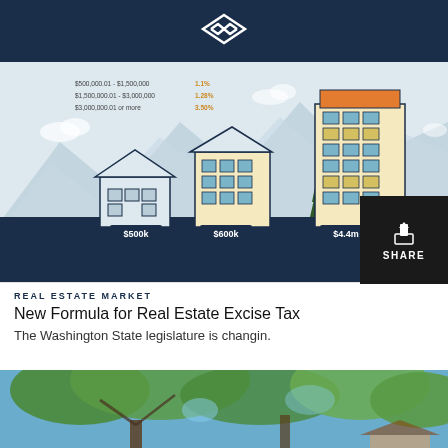[Figure (infographic): Real estate excise tax infographic showing three property tiers: a small house labeled $500k, a mid-size building labeled $600k, and a tall building labeled $4.4m, with mountain landscape background and tax rate table: $500,000.01 - $1,500,000: 1.1%, $1,500,000.01 - $3,000,000: 1.28%, $3,000,000.01 or more: 3.50%]
REAL ESTATE MARKET
New Formula for Real Estate Excise Tax
The Washington State legislature is changin.
[Figure (photo): Outdoor photo looking up through green tree branches at a blue sky with a house roof partially visible]
SHARE